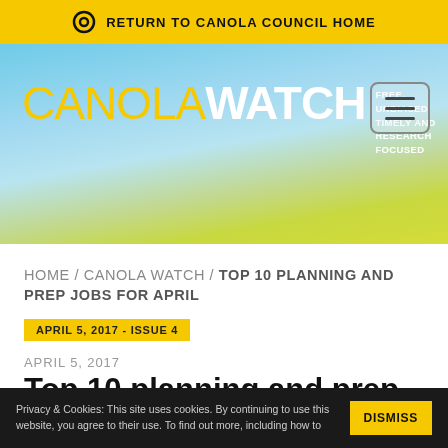RETURN TO CANOLA COUNCIL HOME
[Figure (screenshot): CanolaWatch website hero banner with yellow and blue sky background, canola field, logo reading CANOLA WATCH FREE, UNBIASED, TIMELY AND RESEARCH FOCUSED, and a hamburger menu button]
HOME / CANOLA WATCH / TOP 10 PLANNING AND PREP JOBS FOR APRIL
APRIL 5, 2017 - ISSUE 4
APRIL 5, 2017
Top 10 planning and prep jobs for April
Privacy & Cookies: This site uses cookies. By continuing to use this website, you agree to their use. To find out more, including how to